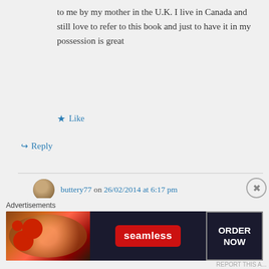to me by my mother in the U.K. I live in Canada and still love to refer to this book and just to have it in my possession is great
Like
Reply
buttery77 on 26/02/2014 at 6:17 pm
It's just amazing how popular this post. I had no idea that it was so loved!
Advertisements
[Figure (screenshot): Seamless food ordering advertisement banner showing pizza image on left, Seamless logo in center, and ORDER NOW button on right, on dark background]